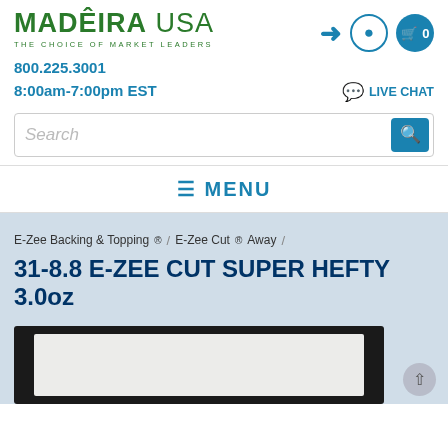[Figure (logo): Madeira USA logo with green text and tagline 'The Choice of Market Leaders']
800.225.3001
8:00am-7:00pm EST
LIVE CHAT
Search
≡ MENU
E-Zee Backing & Topping® / E-Zee Cut® Away /
31-8.8 E-ZEE CUT SUPER HEFTY 3.0oz
[Figure (photo): Product photo showing white stabilizer material on dark background]